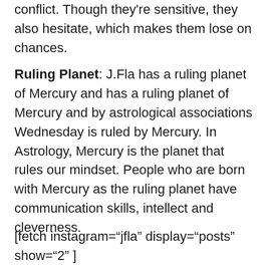conflict. Though they're sensitive, they also hesitate, which makes them lose on chances.
Ruling Planet: J.Fla has a ruling planet of Mercury and has a ruling planet of Mercury and by astrological associations Wednesday is ruled by Mercury. In Astrology, Mercury is the planet that rules our mindset. People who are born with Mercury as the ruling planet have communication skills, intellect and cleverness.
[fetch instagram="jfla" display="posts" show="2" ]